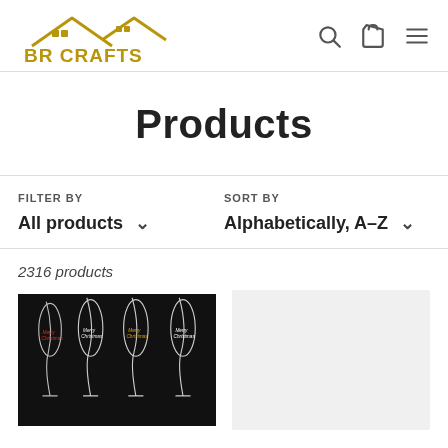[Figure (logo): BR Crafts logo with gold house/roof graphic and gold lettering]
Products
FILTER BY
All products
SORT BY
Alphabetically, A-Z
2316 products
[Figure (photo): Four wine glasses on black background with 'Merry Christmas' text in different colors (red, white, gold, white)]
[Figure (photo): Second product card placeholder (light gray background, image not loaded)]